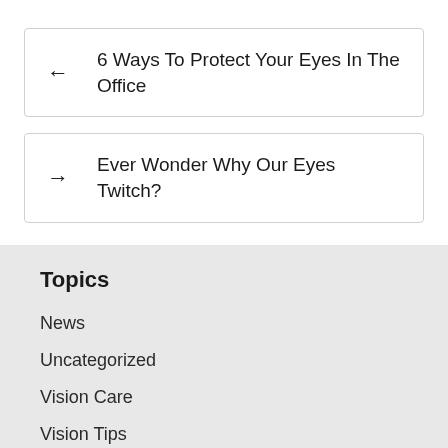← 6 Ways To Protect Your Eyes In The Office
→ Ever Wonder Why Our Eyes Twitch?
Topics
News
Uncategorized
Vision Care
Vision Tips